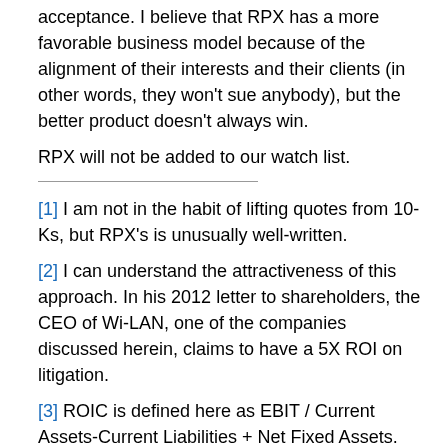acceptance. I believe that RPX has a more favorable business model because of the alignment of their interests and their clients (in other words, they won't sue anybody), but the better product doesn't always win.
RPX will not be added to our watch list.
[1] I am not in the habit of lifting quotes from 10-Ks, but RPX's is unusually well-written.
[2] I can understand the attractiveness of this approach. In his 2012 letter to shareholders, the CEO of Wi-LAN, one of the companies discussed herein, claims to have a 5X ROI on litigation.
[3] ROIC is defined here as EBIT / Current Assets-Current Liabilities + Net Fixed Assets.